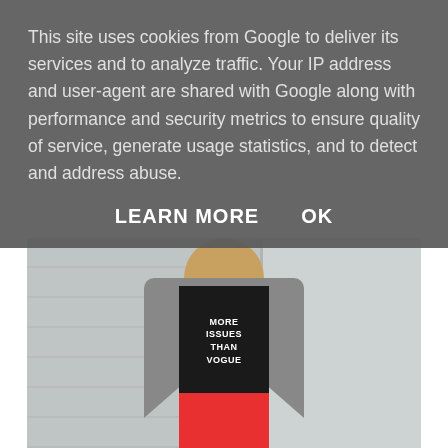[Figure (photo): Fashion photo of a woman wearing a gray blazer over a black graphic t-shirt reading 'MORE ISSUES THAN VOGUE', a red mini skirt, and black tights, posed against a white horizontal-paneled wall]
[Figure (photo): Partial fashion photo showing top portion of another outfit, cropped at bottom of page]
This site uses cookies from Google to deliver its services and to analyze traffic. Your IP address and user-agent are shared with Google along with performance and security metrics to ensure quality of service, generate usage statistics, and to detect and address abuse.
LEARN MORE    OK